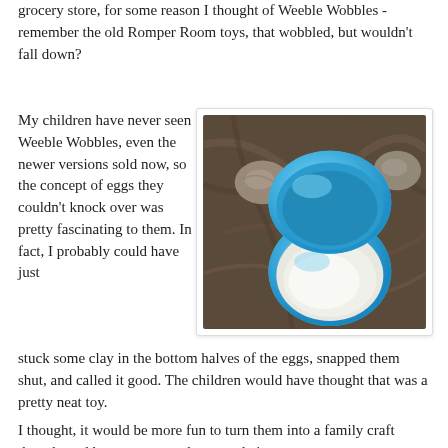grocery store, for some reason I thought of Weeble Wobbles - remember the old Romper Room toys, that wobbled, but wouldn't fall down?
My children have never seen Weeble Wobbles, even the newer versions sold now, so the concept of eggs they couldn't knock over was pretty fascinating to them. In fact, I probably could have just stuck some clay in the bottom halves of the eggs, snapped them shut, and called it good. The children would have thought that was a pretty neat toy.
[Figure (photo): A blue plastic egg container opened, showing white interior, placed on a dark marble or stone surface with small pebbles nearby.]
I thought, it would be more fun to turn them into a family craft though, and have everyone decorate their own.